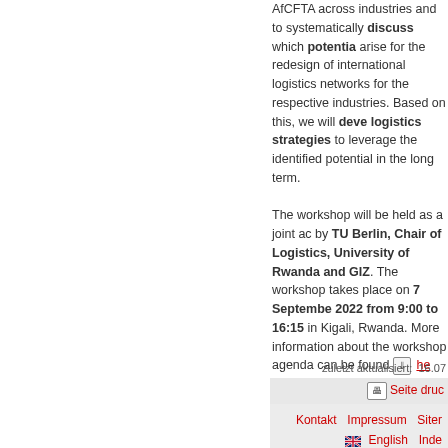AfCFTA across industries and to systematically discuss which potential arise for the redesign of international logistics networks for the respective industries. Based on this, we will develop logistics strategies to leverage the identified potential in the long term.

The workshop will be held as a joint activity by TU Berlin, Chair of Logistics, University of Rwanda and GIZ. The workshop takes place on 7 September 2022 from 9:00 to 16:15 in Kigali, Rwanda. More information about the workshop agenda can be found [icon] here

For registration please click here.
zuletzt aktualisiert: 16.07
Seite drucken
Kontakt  Impressum  Sitemap  English  Index A-Z  Mobil  Datenschutz